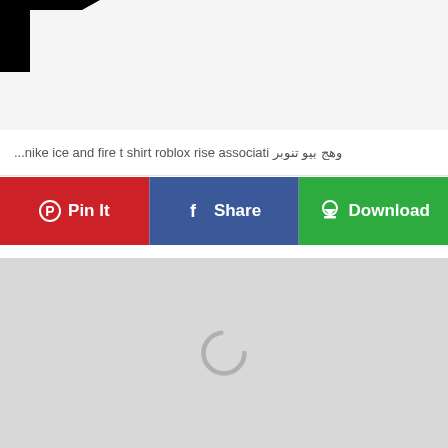[Figure (screenshot): Partial logo/image cropped at top of page, showing black shape on white background]
وهج بيو تنوبر nike ice and fire t shirt roblox rise associati...
[Figure (infographic): Three action buttons: Pin It (red, Pinterest), Share (blue, Facebook), Download (green)]
[Figure (screenshot): Gray loading area with a circular spinner/loading indicator in the center]